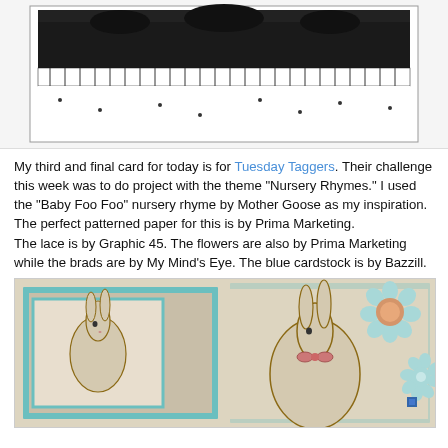[Figure (photo): Handmade card with black and white ornate lace-style stamp pattern on white background with decorative border]
My third and final card for today is for Tuesday Taggers. Their challenge this week was to do project with the theme "Nursery Rhymes." I used the "Baby Foo Foo" nursery rhyme by Mother Goose as my inspiration. The perfect patterned paper for this is by Prima Marketing.
The lace is by Graphic 45. The flowers are also by Prima Marketing while the brads are by My Mind's Eye. The blue cardstock is by Bazzill.
[Figure (photo): Handmade card featuring illustrated rabbits/bunnies on vintage patterned paper with teal blue cardstock matting and light blue fabric flowers with orange brad center]